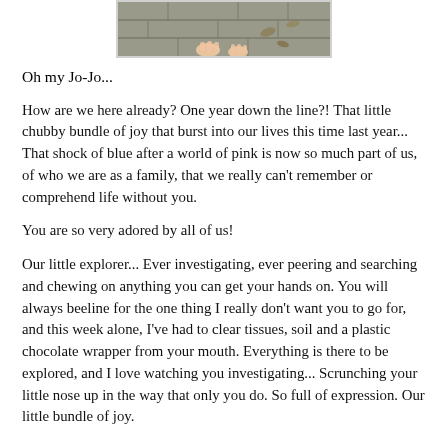[Figure (photo): Bottom portion of a photo showing a child's hands on stone paving, partially cropped at top of page]
Oh my Jo-Jo...
How are we here already? One year down the line?! That little chubby bundle of joy that burst into our lives this time last year... That shock of blue after a world of pink is now so much part of us, of who we are as a family, that we really can't remember or comprehend life without you.
You are so very adored by all of us!
Our little explorer... Ever investigating, ever peering and searching and chewing on anything you can get your hands on. You will always beeline for the one thing I really don't want you to go for, and this week alone, I've had to clear tissues, soil and a plastic chocolate wrapper from your mouth. Everything is there to be explored, and I love watching you investigating... Scrunching your little nose up in the way that only you do. So full of expression. Our little bundle of joy.